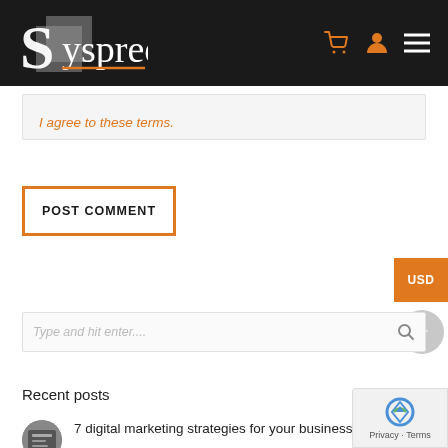[Figure (screenshot): Syspree website header with logo on dark/black background and orange cart icon, person icon, and hamburger menu icon on the right]
I agree to these terms.
POST COMMENT
USD
Type and hit enter....
Recent posts
7 digital marketing strategies for your business